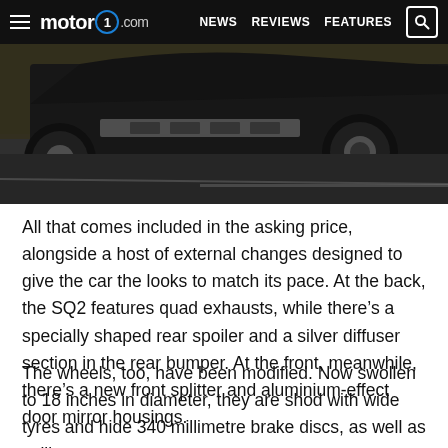motor1.com  NEWS  REVIEWS  FEATURES
[Figure (photo): Rear view of a dark Audi SQ2 SUV driving on a road, showing quad exhausts, silver diffuser, and rear spoiler.]
All that comes included in the asking price, alongside a host of external changes designed to give the car the looks to match its pace. At the back, the SQ2 features quad exhausts, while there’s a specially shaped rear spoiler and a silver diffuser section in the rear bumper. At the front, meanwhile, there’s a new front splitter and aluminium-effect door mirror housings.
The wheels, too, have been modified. Now swollen to 18 inches in diameter, they are shod with wide tyres and hide 340 millimetre brake discs, as well as callipers